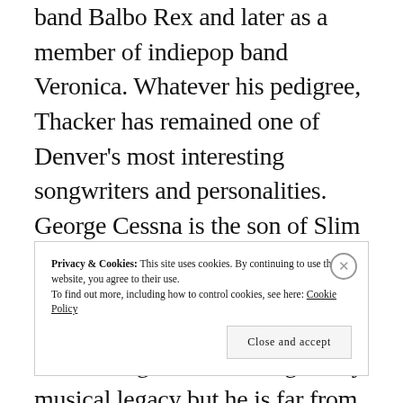band Balbo Rex and later as a member of indiepop band Veronica. Whatever his pedigree, Thacker has remained one of Denver's most interesting songwriters and personalities. George Cessna is the son of Slim Cessna of Auto Club fame. The younger Cessna's own work is both not too surprising considering his father's legendary musical legacy but he is far from a carbon copy and his use of raw sound and atmosphere in his recordings and his wide ranging musical style in a broader realm of Americana and weirdo folk is noteworthy on its own merits.
Privacy & Cookies: This site uses cookies. By continuing to use this website, you agree to their use. To find out more, including how to control cookies, see here: Cookie Policy
Close and accept